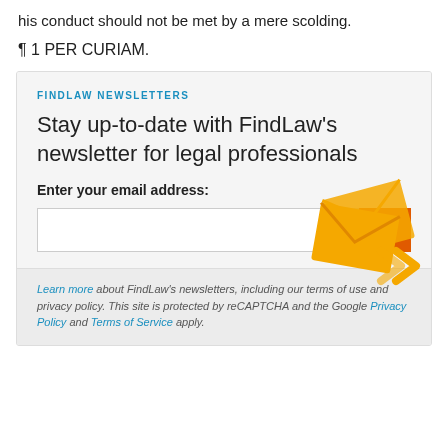his conduct should not be met by a mere scolding.
¶ 1 PER CURIAM.
FINDLAW NEWSLETTERS
Stay up-to-date with FindLaw's newsletter for legal professionals
Enter your email address:
[Figure (infographic): Orange geometric arrow/envelope graphic decorating the newsletter signup box]
Learn more about FindLaw's newsletters, including our terms of use and privacy policy. This site is protected by reCAPTCHA and the Google Privacy Policy and Terms of Service apply.